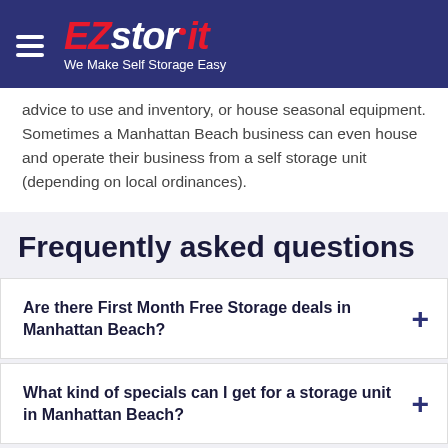EZstorit — We Make Self Storage Easy
...advice to use and store inventory, or house seasonal equipment. Sometimes a Manhattan Beach business can even house and operate their business from a self storage unit (depending on local ordinances).
Frequently asked questions
Are there First Month Free Storage deals in Manhattan Beach?
What kind of specials can I get for a storage unit in Manhattan Beach?
How much does a storage unit cost in Manhattan Beach?